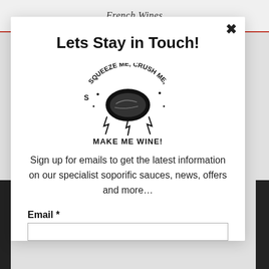French Wines
Lets Stay in Touch!
[Figure (illustration): Hand-drawn illustration of a grape cluster with text around it reading 'Squeeze Me, Crush Me, Make Me Wine!']
Sign up for emails to get the latest information on our specialist soporific sauces, news, offers and more…
Email *